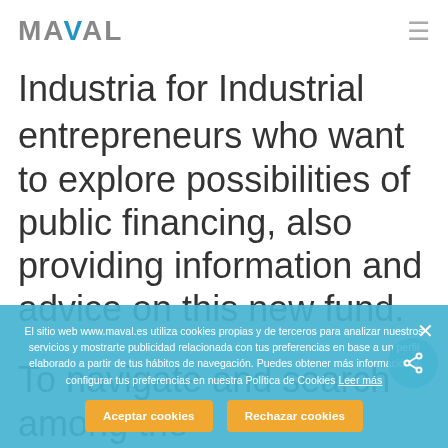MAVAL
Industria for Industrial entrepreneurs who want to explore possibilities of public financing, also providing information and advice on this new fund.
To navigate and search among the many public state aids we have at our disposal the web portal Sistema Nacional de Publicidad de Subvenciones y Ayudas Públicas (National Subsidies and Public Dobla Subvención ... Grants).
El sitio web www.maval.es utiliza cookies propias y de terceros para analizar nuestros servicios y mostrarte publicidad relacionada con tus preferencias en base a un perfil elaborado a partir de tus hábitos de navegación. Puedes obtener más información y configurar tus preferencias en nuestra Política de Cookies Leer más